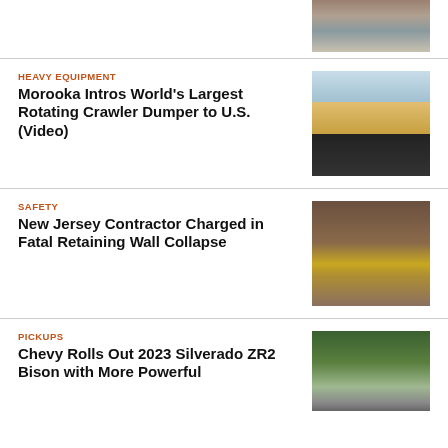[Figure (photo): Partial image of construction/excavation scene at top right]
HEAVY EQUIPMENT
Morooka Intros World's Largest Rotating Crawler Dumper to U.S. (Video)
[Figure (photo): Photo of a large yellow Morooka crawler dumper machine]
SAFETY
New Jersey Contractor Charged in Fatal Retaining Wall Collapse
[Figure (photo): Photo of a yellow hard hat lying on dirt ground near machinery]
PICKUPS
Chevy Rolls Out 2023 Silverado ZR2 Bison with More Powerful
[Figure (photo): Photo of a pickup truck in a forested area]